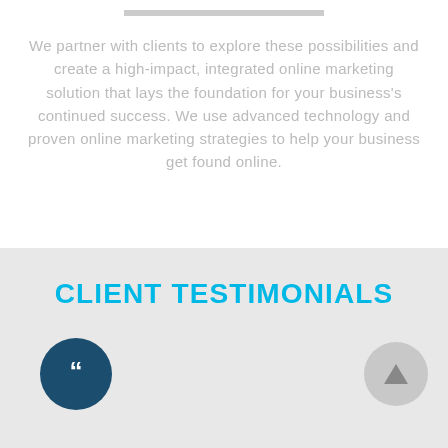We partner with clients to explore these possibilities and create a high-impact, integrated online marketing solution that lays the foundation for your business's continued success. We use advanced technology and proven online marketing strategies to help your business get found online.
CLIENT TESTIMONIALS
[Figure (illustration): Dark teal circle with a double quotation mark icon (open quote), and a gray circle with an upward-pointing arrow icon to the right]